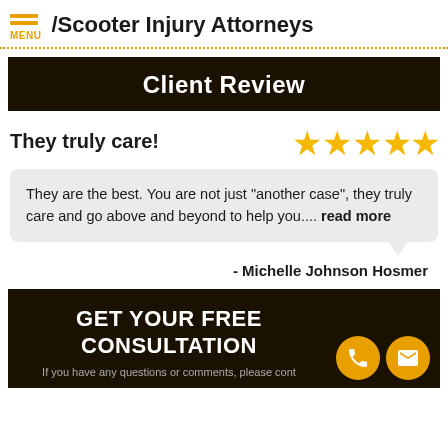/Scooter Injury Attorneys
Client Review
They truly care!
They are the best. You are not just "another case", they truly care and go above and beyond to help you.... read more
- Michelle Johnson Hosmer
GET YOUR FREE CONSULTATION